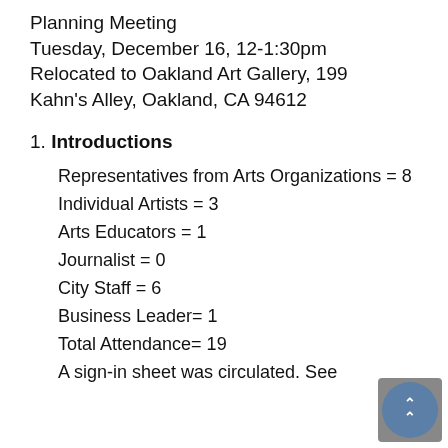Planning Meeting
Tuesday, December 16, 12-1:30pm
Relocated to Oakland Art Gallery, 199 Kahn's Alley, Oakland, CA 94612
1. Introductions
Representatives from Arts Organizations = 8
Individual Artists = 3
Arts Educators = 1
Journalist = 0
City Staff = 6
Business Leader= 1
Total Attendance= 19
A sign-in sheet was circulated. See